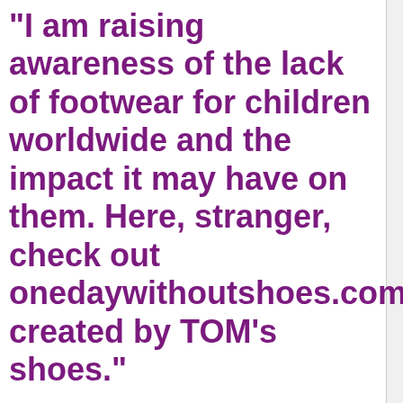"I am raising awareness of the lack of footwear for children worldwide and the impact it may have on them. Here, stranger, check out onedaywithoutshoes.com, created by TOM's shoes."